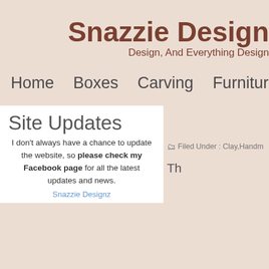Snazzie Design
Design, And Everything Design
Home   Boxes   Carving   Furniture   WellS
Site Updates
I don't always have a chance to update the website, so please check my Facebook page for all the latest updates and news.
Snazzie Designz
Filed Under : Clay,Handm
Th